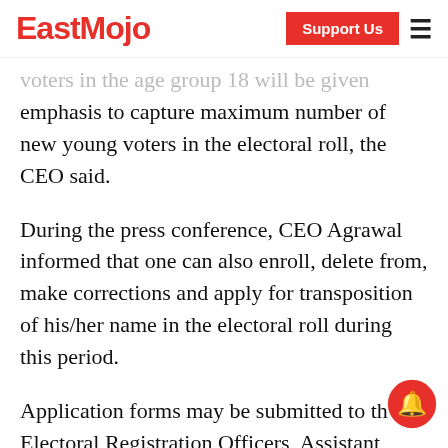EastMojo | Support Us
voters in the age group 18 will be given emphasis to capture maximum number of new young voters in the electoral roll, the CEO said.
During the press conference, CEO Agrawal informed that one can also enroll, delete from, make corrections and apply for transposition of his/her name in the electoral roll during this period.
Application forms may be submitted to the Electoral Registration Officers, Assistant Electoral Registration Officers and Booth